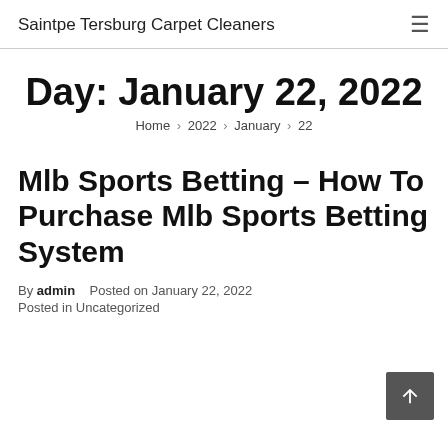Saintpe Tersburg Carpet Cleaners
Day: January 22, 2022
Home › 2022 › January › 22
Mlb Sports Betting – How To Purchase Mlb Sports Betting System
By admin   Posted on January 22, 2022
Posted in Uncategorized